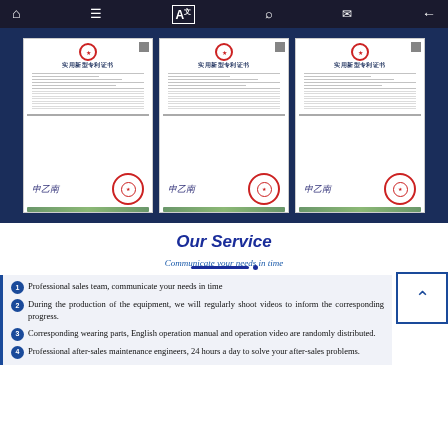Navigation bar with home, menu, translate, search, mail, back icons
[Figure (photo): Three Chinese utility model patent certificates displayed side by side on a dark navy blue background. Each certificate is white with Chinese text, an official red seal, a cursive signature, and decorative green border at the bottom.]
Our Service
Communicate your needs in time
Professional sales team, communicate your needs in time
During the production of the equipment, we will regularly shoot videos to inform the corresponding progress.
Corresponding wearing parts, English operation manual and operation video are randomly distributed.
Professional after-sales maintenance engineers, 24 hours a day to solve your after-sales problems.